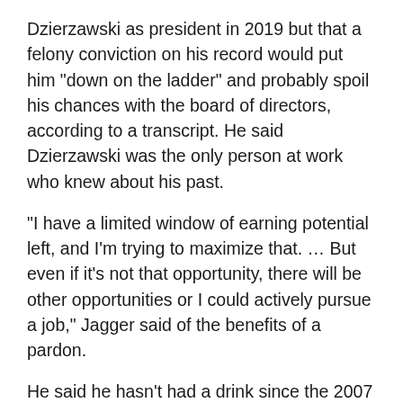Dzierzawski as president in 2019 but that a felony conviction on his record would put him "down on the ladder" and probably spoil his chances with the board of directors, according to a transcript. He said Dzierzawski was the only person at work who knew about his past.
"I have a limited window of earning potential left, and I'm trying to maximize that. … But even if it's not that opportunity, there will be other opportunities or I could actively pursue a job," Jagger said of the benefits of a pardon.
He said he hasn't had a drink since the 2007 arrest.
"The me of 14, 15 years ago wouldn't imagine that I would have the life that I have now," said Jagger, who is married and has two children. "So regardless of the